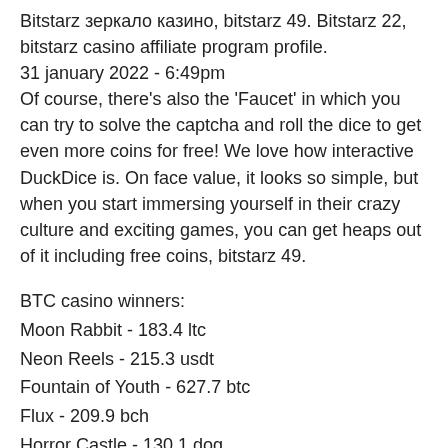Bitstarz зеркало казино, bitstarz 49. Bitstarz 22, bitstarz casino affiliate program profile.
31 january 2022 - 6:49pm
Of course, there's also the 'Faucet' in which you can try to solve the captcha and roll the dice to get even more coins for free! We love how interactive DuckDice is. On face value, it looks so simple, but when you start immersing yourself in their crazy culture and exciting games, you can get heaps out of it including free coins, bitstarz 49.
BTC casino winners:
Moon Rabbit - 183.4 ltc
Neon Reels - 215.3 usdt
Fountain of Youth - 627.7 btc
Flux - 209.9 bch
Horror Castle - 130.1 dog
Speed Cash - 198.1 dog
Legend of the White Snake Lady - 434.5 usdt